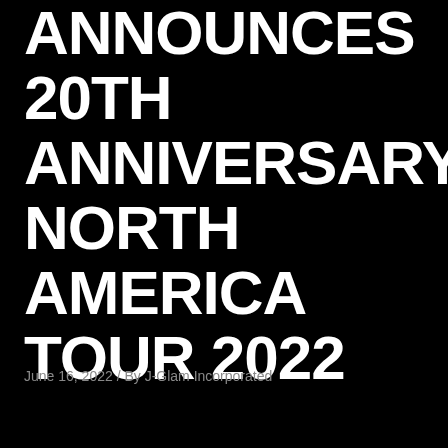ANNOUNCES 20TH ANNIVERSARY NORTH AMERICA TOUR 2022
June 16, 2022 / By J-Glam Incorporated